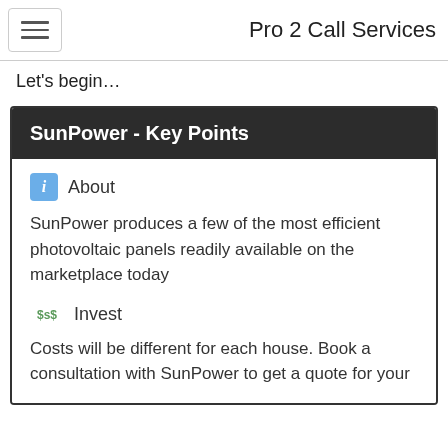Pro 2 Call Services
Let's begin…
SunPower - Key Points
About
SunPower produces a few of the most efficient photovoltaic panels readily available on the marketplace today
Invest
Costs will be different for each house. Book a consultation with SunPower to get a quote for your